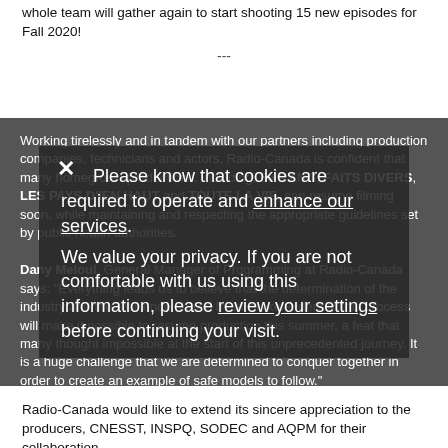whole team will gather again to start shooting 15 new episodes for Fall 2020!
---
Working tirelessly and in tandem with our partners including production companies, technicians and actors, Radio-Canada is confident that many homegrown productions, including, 5e RANG, FAITS DIVERS, LES PAYS D'IEN HAUT and TOUTE LA VIE, can resume filming soon, while maintaining and respecting the appropriate guidelines set by public health authorities.
Dany Meloul, General Manager of Programming at Radio-Canada says: "Everything leads us to believe that the determination of the industry and the resilience shown by all stakeholders in this process will make it possible to resume production this summer, a feat that many thought impossible at the start of this unprecedented journey. It is a huge challenge that we are determined to conquer together in order to create an example of safe models to follow."
Please know that cookies are required to operate and enhance our services. We value your privacy. If you are not comfortable with us using this information, please review your settings before continuing your visit.
Radio-Canada would like to extend its sincere appreciation to the producers, CNESST, INSPQ, SODEC and AQPM for their collaboration.